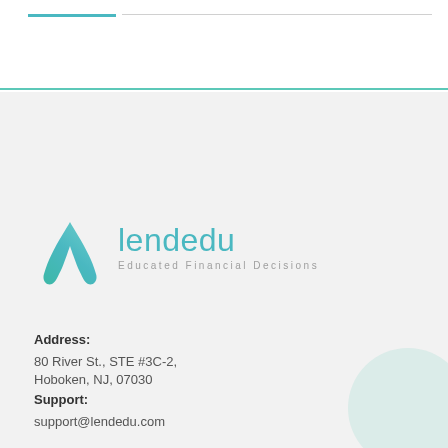[Figure (logo): LendEdu logo with teal boomerang/arrow icon and text 'lendedu' with tagline 'Educated Financial Decisions']
Address:
80 River St., STE #3C-2,
Hoboken, NJ, 07030
Support:
support@lendedu.com
Categories
Student Loans
Personal Loans